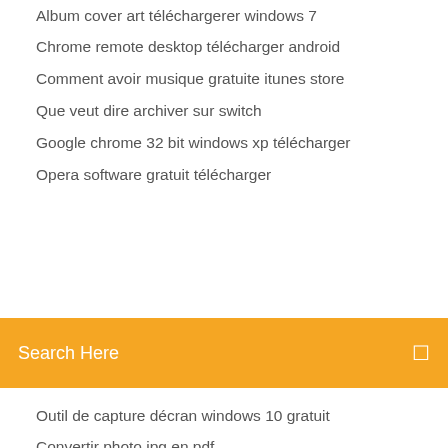Album cover art téléchargerer windows 7
Chrome remote desktop télécharger android
Comment avoir musique gratuite itunes store
Que veut dire archiver sur switch
Google chrome 32 bit windows xp télécharger
Opera software gratuit télécharger
[Figure (screenshot): Orange search bar with text 'Search Here' and a small icon on the right]
Outil de capture décran windows 10 gratuit
Convertir photo jpg en pdf
Google chrome 32 bit windows xp télécharger
Quel est le meilleur antivirus pour windows 7
Adobe digital edition mac os
Hp usb disk storage format tool für windows 10
Fifa 18 vs pes 2019 xbox one
Latest steam setup gratuit télécharger
Pourquoi simcity ne se lance pas
Roller coaster tycoon 2 télécharger